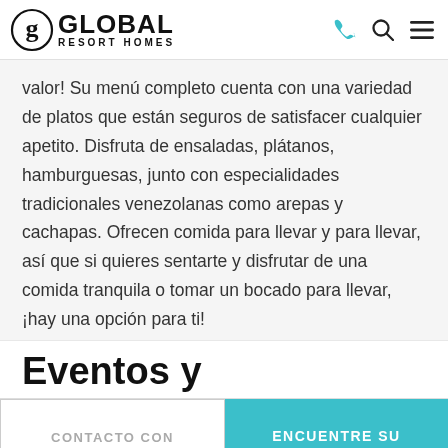Global Resort Homes
valor! Su menú completo cuenta con una variedad de platos que están seguros de satisfacer cualquier apetito. Disfruta de ensaladas, plátanos, hamburguesas, junto con especialidades tradicionales venezolanas como arepas y cachapas. Ofrecen comida para llevar y para llevar, así que si quieres sentarte y disfrutar de una comida tranquila o tomar un bocado para llevar, ¡hay una opción para ti!
Eventos y
CONTACTO CON NOSOTROS | ENCUENTRE SU ALQUILER